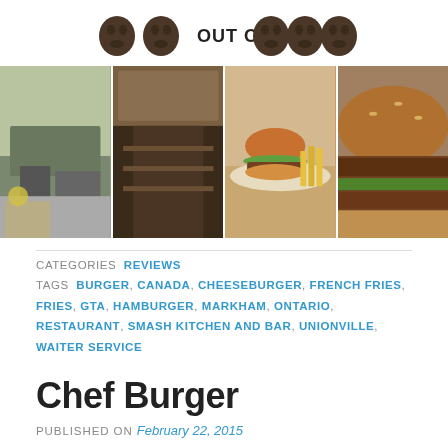[Figure (infographic): Rating display: 2 face icons OUT OF 5 face icons]
[Figure (photo): Four food/restaurant photos side by side: exterior of restaurant, interior dining room, burger with fries, close-up of burger]
CATEGORIES  REVIEWS
TAGS  BURGER, CANADA, CHEESEBURGER, FRENCH FRIES, FRIES, GTA, HAMBURGER, MARKHAM, ONTARIO, RESTAURANT, SMASH KITCHEN AND BAR, UNIONVILLE, WAITER SERVICE
Chef Burger
PUBLISHED ON February 22, 2015